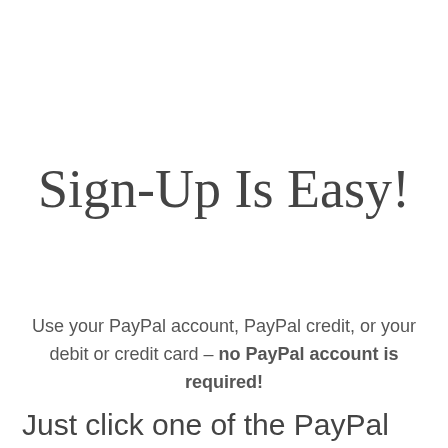Sign-Up Is Easy!
Use your PayPal account, PayPal credit, or your debit or credit card – no PayPal account is required!
Just click one of the PayPal buttons below.